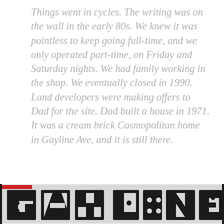Things went in cycles. The writing was on the wall in the early 80s. We knew it was pointless to keep going full-time, and we only operated part-time, on Friday and Saturday nights. We had family working in the shop. We eventually closed in 1990. Land developers were making offers to Dad for the site. Dad built a house in 1971. It was a cream brick Cosmopolitan home in Gayline Ave, and it is still there.
[Figure (photo): Partial view of a dark sign with large stylized letters visible at the bottom of the page, showing what appears to be 'GAYLINE' text in bold block lettering on a light background with dark border.]